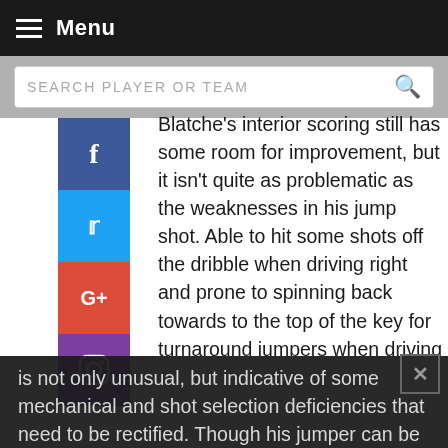Menu
SEARCH PLAYER OR TEAM
Blatche's interior scoring still has some room for improvement, but it isn't quite as problematic as the weaknesses in his jump shot. Able to hit some shots off the dribble when driving right and prone to spinning back towards to the top of the key for turnaround jumpers when driving left, Blatche is truly an odd case. He'll hit a contested, off-balance 17 footer on one possession, or drain an uncontested 21-footer with time and space before badly missing an open pull up off of one dribble or missing a series a catch and shoot opportunities. Last season, Blatche was substantially more effective off the dribble than he was off the catch, which is not only unusual, but indicative of some mechanical and shot selection deficiencies that need to be rectified. Though his jumper can be